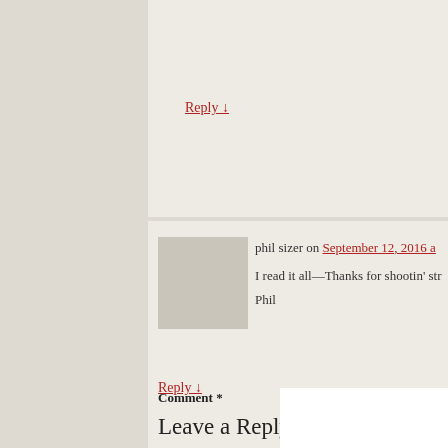Reply ↓
phil sizer on September 12, 2016 a
I read it all—Thanks for shootin' str
Phil
Reply ↓
Leave a Reply
Your email address will not be published. Required fie
Comment *